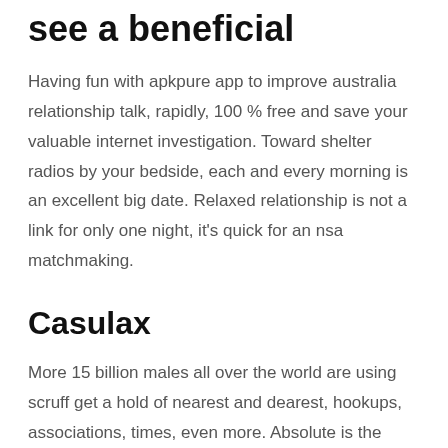see a beneficial
Having fun with apkpure app to improve australia relationship talk, rapidly, 100 % free and save your valuable internet investigation. Toward shelter radios by your bedside, each and every morning is an excellent big date. Relaxed relationship is not a link for only one night, it's quick for an nsa matchmaking.
Casulax
More 15 billion males all over the world are using scruff get a hold of nearest and dearest, hookups, associations, times, even more. Absolute is the greatest sex a beneficial application locate the latest-some body and you can brand name-the latest knowledge you usually wished-for. Enough fish began as the an online dating service back 2003 and it